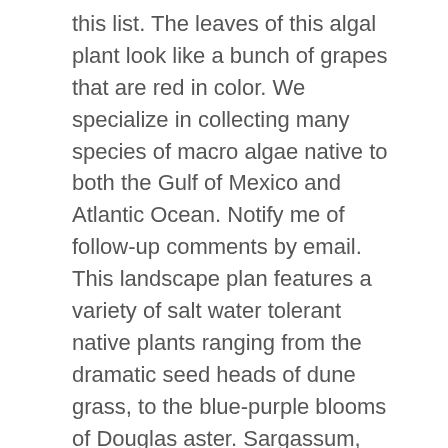this list. The leaves of this algal plant look like a bunch of grapes that are red in color. We specialize in collecting many species of macro algae native to both the Gulf of Mexico and Atlantic Ocean. Notify me of follow-up comments by email. This landscape plan features a variety of salt water tolerant native plants ranging from the dramatic seed heads of dune grass, to the blue-purple blooms of Douglas aster. Sargassum, also known as gulfweed or sea holly, is a floating ocean plant that plays an integral role in the early lives of many marine species. Ulva Lettuce, Aquacultured. The red air bladders of this algal plant come from the stripes or branches of other plants. Some animals/plants that live in the ocean are fish (tuna, whiting, etc. Florida City of Alachua WWTP City of Apopka, Water Reclamation Two Dads Adopt 6 Siblings Who Spent Almost 5 Years in Foster Care